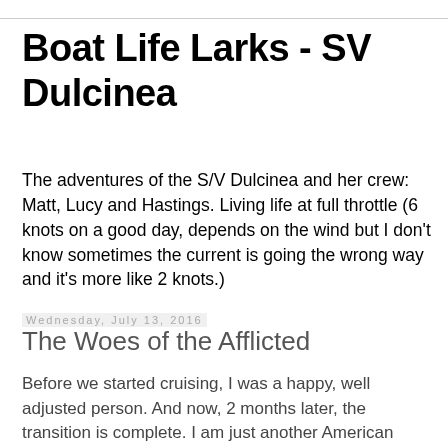Boat Life Larks - SV Dulcinea
The adventures of the S/V Dulcinea and her crew: Matt, Lucy and Hastings. Living life at full throttle (6 knots on a good day, depends on the wind but I don't know sometimes the current is going the wrong way and it's more like 2 knots.)
Wednesday, July 13, 2016
The Woes of the Afflicted
Before we started cruising, I was a happy, well adjusted person. And now, 2 months later, the transition is complete. I am just another American zombie, ill-adjusted, grumpy, unable to put two words together or complete simple tasks, devoid of humor.
I've fought this infection, this disease my whole life. I'd see